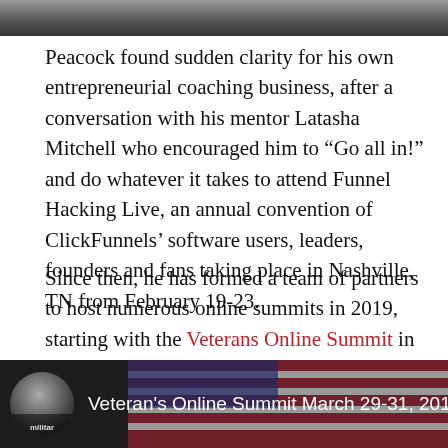[Figure (photo): Top portion of a photo, partially visible at the top of the page]
Peacock found sudden clarity for his own entrepreneurial coaching business, after a conversation with his mentor Latasha Mitchell who encouraged him to “Go all in!” and do whatever it takes to attend Funnel Hacking Live, an annual convention of ClickFunnels’ software users, leaders, founders and fans taking place in Nashville, TN from February 19-23.
Since then, he has formed a team of partners to host numerous online summits in 2019, starting with the Veterans Online Summit in March, as well as a free online course beginning February 4th for civilians and veterans.
[Figure (screenshot): Video thumbnail showing a man in military apparel with text 'Veteran's Online Summit March 29-31, 2019 by' overlaid on an American flag background]